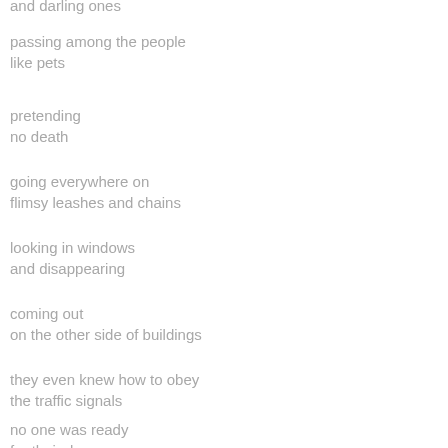and darling ones
passing among the people
like pets
pretending
no death
going everywhere on
flimsy leashes and chains
looking in windows
and disappearing
coming out
on the other side of buildings
they even knew how to obey
the traffic signals
no one was ready
for their danger